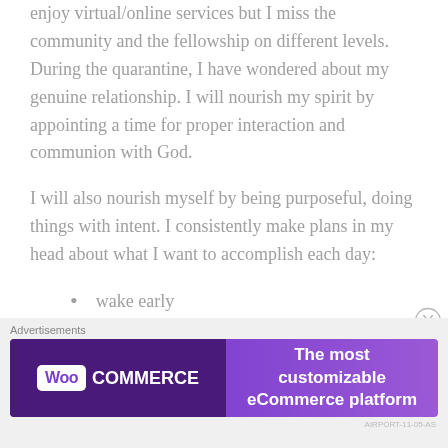devotionals and pray consistently, something is missing. I enjoy virtual/online services but I miss the community and the fellowship on different levels. During the quarantine, I have wondered about my genuine relationship. I will nourish my spirit by appointing a time for proper interaction and communion with God.
I will also nourish myself by being purposeful, doing things with intent. I consistently make plans in my head about what I want to accomplish each day:
wake early
journal and pray
exercise
fix lunch
[Figure (other): WooCommerce advertisement banner: 'The most customizable eCommerce platform']